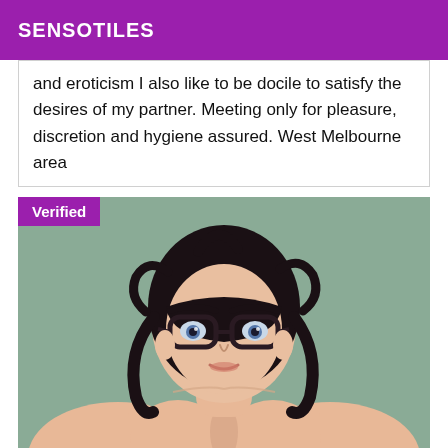SENSOTILES
and eroticism I also like to be docile to satisfy the desires of my partner. Meeting only for pleasure, discretion and hygiene assured. West Melbourne area
[Figure (illustration): Anime-style illustration of a young woman with short dark hair, thick-rimmed glasses, depicted from the waist up without clothing, against a muted green-grey background. A purple 'Verified' badge is shown in the top-left corner of the image card.]